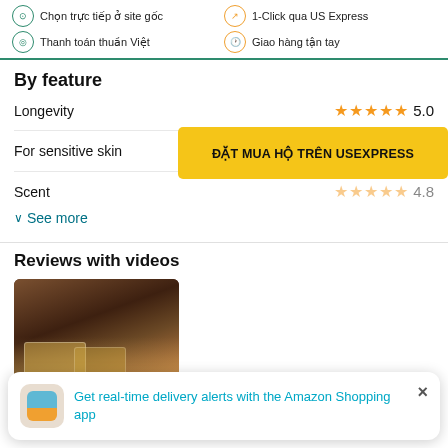Chọn trực tiếp ở site gốc | Thanh toán thuần Việt | 1-Click qua US Express | Giao hàng tận tay
By feature
Longevity ★★★★★ 5.0
For sensitive skin ★★★★½ 4.5
Scent ★★★★★ 4.8
∨ See more
[Figure (screenshot): Yellow CTA button overlay: ĐẶT MUA HỘ TRÊN USEXPRESS]
Reviews with videos
[Figure (photo): Video thumbnail showing product bottles in a box with ice]
Get real-time delivery alerts with the Amazon Shopping app